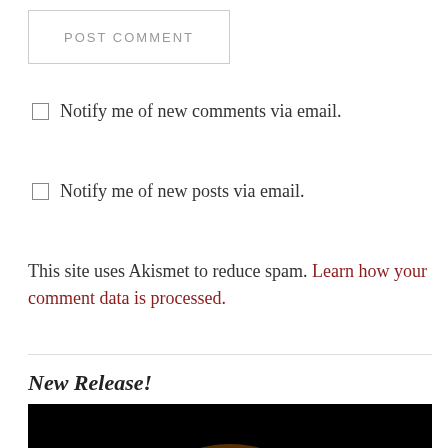POST COMMENT
Notify me of new comments via email.
Notify me of new posts via email.
This site uses Akismet to reduce spam. Learn how your comment data is processed.
New Release!
[Figure (photo): A golden/orange moon photographed against a black night sky background, partially visible at the bottom of the page.]